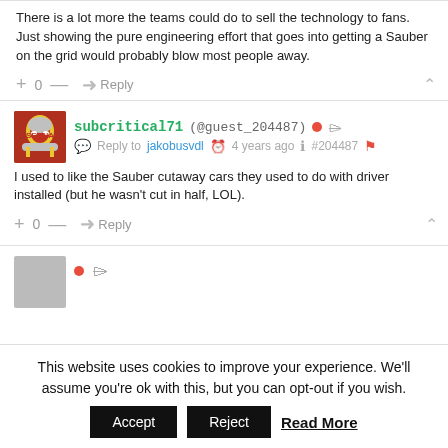There is a lot more the teams could do to sell the technology to fans. Just showing the pure engineering effort that goes into getting a Sauber on the grid would probably blow most people away.
+ 0 — Reply
subcritical71 (@guest_204487) Reply to jakobusvdl 4 years ago #204487
I used to like the Sauber cutaway cars they used to do with driver installed (but he wasn't cut in half, LOL).
+ 0 — Reply
This website uses cookies to improve your experience. We'll assume you're ok with this, but you can opt-out if you wish.